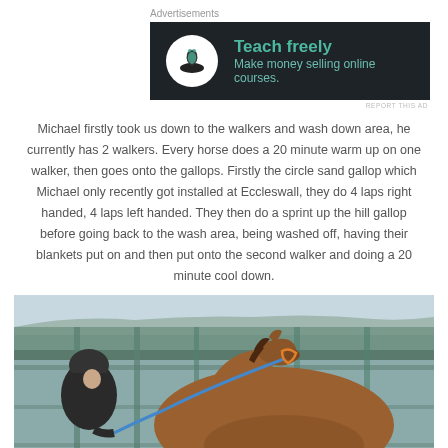Advertisements
[Figure (screenshot): Advertisement banner with dark background showing a bonsai tree icon in a white circle, with teal text 'Teach freely' and smaller teal text 'Make money selling online courses.']
REPORT THIS AD
Michael firstly took us down to the walkers and wash down area, he currently has 2 walkers. Every horse does a 20 minute warm up on one walker, then goes onto the gallops. Firstly the circle sand gallop which Michael only recently got installed at Eccleswall, they do 4 laps right handed, 4 laps left handed. They then do a sprint up the hill gallop before going back to the wash area, being washed off, having their blankets put on and then put onto the second walker and doing a 20 minute cool down.
[Figure (photo): Photo of a person in a riding helmet holding the lead rope of a bay horse (chestnut/brown) in what appears to be a stable or wash area with green/teal metal structures in the background.]